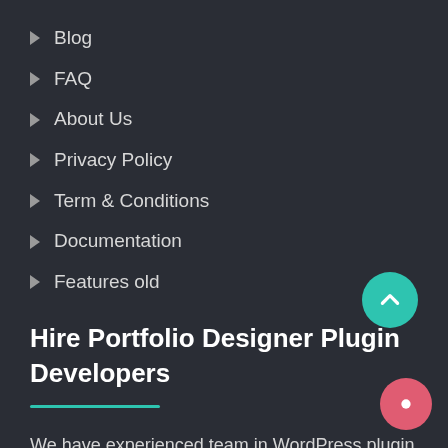Blog
FAQ
About Us
Privacy Policy
Term & Conditions
Documentation
Features old
Hire Portfolio Designer Plugin Developers
We have experienced team in WordPress plugin development. If you want to enhance current Portfolio Designer WordPress plugin's functionality according to your requirements, you can